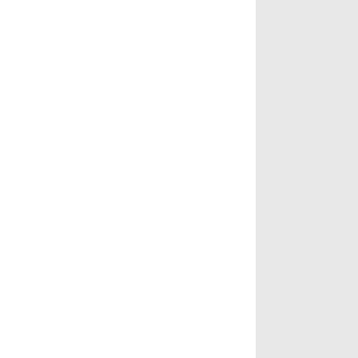January 2010
December 2009
November 2009
October 2009
September 2009
August 2009
June 2009
May 2009
April 2009
March 2009
February 2009
January 2009
December 2008
November 2008
October 2008
September 2008
April 2008
January 2008
BLOGS I FOLLOW
Armies on Parade